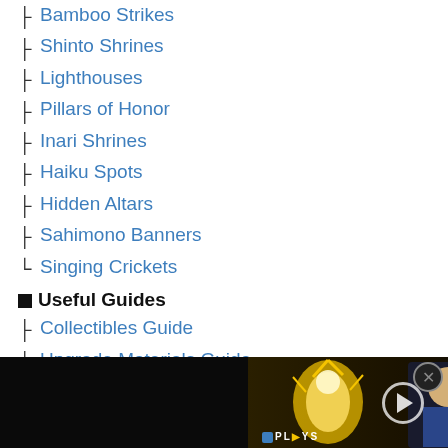Bamboo Strikes
Shinto Shrines
Lighthouses
Pillars of Honor
Inari Shrines
Haiku Spots
Hidden Altars
Sahimono Banners
Singing Crickets
Useful Guides
Collectibles Guide
Upgrade Materials Guide
Iron and Steel Farming Guide
All Mongol Territory Locations
Katana Upgrade and Customizat...
[Figure (screenshot): Advertisement overlay showing 'Most Popular Products Updated Weekly!' on orange background with product icons]
[Figure (screenshot): Video player overlay at the bottom showing an anime character with glowing effect and a character resembling Vegeta, with PLAYS badge]